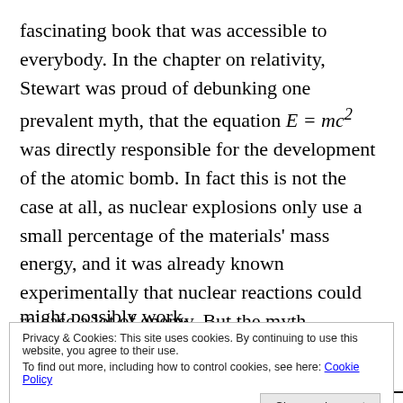fascinating book that was accessible to everybody. In the chapter on relativity, Stewart was proud of debunking one prevalent myth, that the equation E = mc² was directly responsible for the development of the atomic bomb. In fact this is not the case at all, as nuclear explosions only use a small percentage of the materials' mass energy, and it was already known experimentally that nuclear reactions could release a lot of energy. But the myth prevailed as this was one of the ways the American government managed to convince the public that the atomic bomb might possibly work.
Privacy & Cookies: This site uses cookies. By continuing to use this website, you agree to their use.
To find out more, including how to control cookies, see here: Cookie Policy
Close and accept
development of group theory explained through